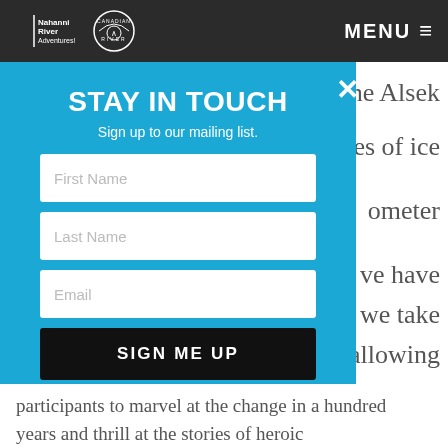Nahanni River Adventures | Canadian River [logo] | MENU
[Figure (screenshot): Modal popup overlay on a webpage with a blue background containing a newsletter sign-up form with fields for First Name, Last Name, Email, and a SIGN ME UP button. Behind the modal, partial text of a webpage is visible on the right side: 'he Alsek', 'es of ice', 'ometer', 've have', 'we take', 'allowing']
STAY IN TOUCH
Sign up to our mailing list.
First Name
Last Name
Email
SIGN ME UP
participants to marvel at the change in a hundred years and thrill at the stories of heroic